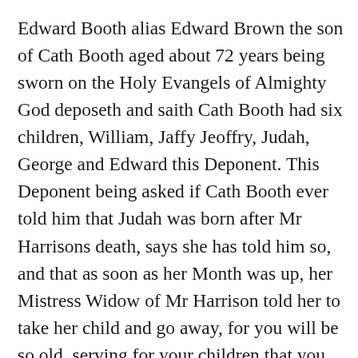Edward Booth alias Edward Brown the son of Cath Booth aged about 72 years being sworn on the Holy Evangels of Almighty God deposeth and saith Cath Booth had six children, William, Jaffy Jeoffry, Judah, George and Edward this Deponent. This Deponent being asked if Cath Booth ever told him that Judah was born after Mr Harrisons death, says she has told him so, and that as soon as her Month was up, her Mistress Widow of Mr Harrison told her to take her child and go away, for you will be so old, serving for your children that you wont be able to get a living being asked if he ever heard Cate Booth say Mr Harrison set her free? saith he never did hear her say so being also asked if he ever heard that Cath Booth served Mr Harrison as a Slave? he answers that he never did hear so, but on the Contrary that he this Deponent often heard that she served Mr